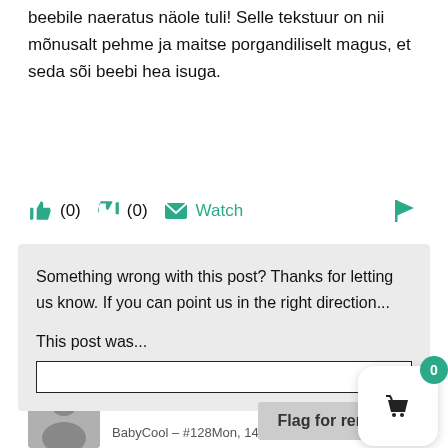beebile naeratus näole tuli! Selle tekstuur on nii mõnusalt pehme ja maitse porgandiliselt magus, et seda sõi beebi hea isuga.
(0)  (0)  Watch  [flag icon]
Something wrong with this post? Thanks for letting us know. If you can point us in the right direction...

This post was...

[text input]

Flag for removal
BabyCool – #128Mon, 14 Feb